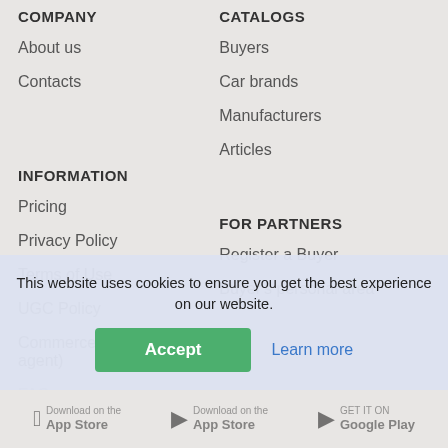COMPANY
About us
Contacts
CATALOGS
Buyers
Car brands
Manufacturers
Articles
INFORMATION
Pricing
Privacy Policy
Terms of Use
UGC Policy
CommerceGate (our sales agent)
FAQ
FOR PARTNERS
Register a Buyer
Buyer's personal area
This website uses cookies to ensure you get the best experience on our website.
Accept
Learn more